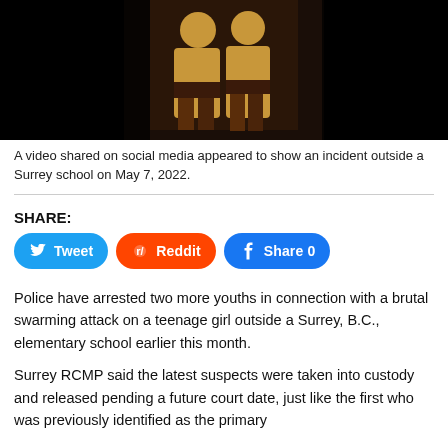[Figure (photo): Video still showing people outside a Surrey school on May 7, 2022. Dark background with figures wearing yellow/tan clothing. Image is low quality/compressed.]
A video shared on social media appeared to show an incident outside a Surrey school on May 7, 2022.
SHARE:
Tweet   Reddit   Share 0
Police have arrested two more youths in connection with a brutal swarming attack on a teenage girl outside a Surrey, B.C., elementary school earlier this month.
Surrey RCMP said the latest suspects were taken into custody and released pending a future court date, just like the first who was previously identified as the primary